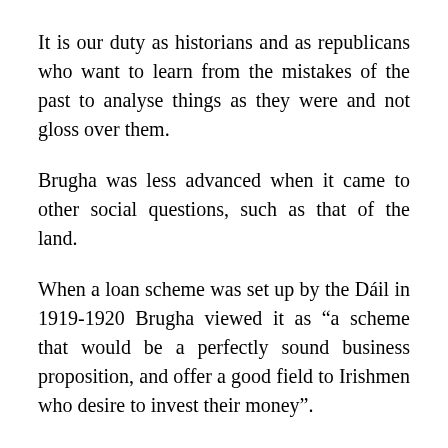It is our duty as historians and as republicans who want to learn from the mistakes of the past to analyse things as they were and not gloss over them.
Brugha was less advanced when it came to other social questions, such as that of the land.
When a loan scheme was set up by the Dáil in 1919-1920 Brugha viewed it as “a scheme that would be a perfectly sound business proposition, and offer a good field to Irishmen who desire to invest their money”.
This speaks to the class composition of much of that era’s Irish Republicanism – with over-representation from the lower middle and middle classes and under